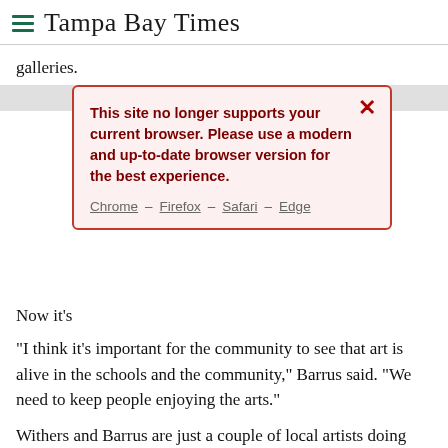Tampa Bay Times
galleries.
[Figure (screenshot): Browser compatibility warning modal with red border on pink background. Text reads: 'This site no longer supports your current browser. Please use a modern and up-to-date browser version for the best experience.' Links: Chrome – Firefox – Safari – Edge. Red X close button in top right.]
Now it's
"I think it's important for the community to see that art is alive in the schools and the community," Barrus said. "We need to keep people enjoying the arts."
Withers and Barrus are just a couple of local artists doing their thing here.
"Overall I love the interaction with others that all share the